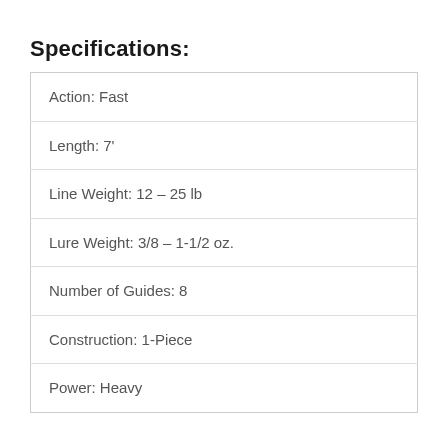Specifications:
| Action: Fast |
| Length: 7' |
| Line Weight: 12 – 25 lb |
| Lure Weight: 3/8 – 1-1/2 oz. |
| Number of Guides: 8 |
| Construction: 1-Piece |
| Power: Heavy |